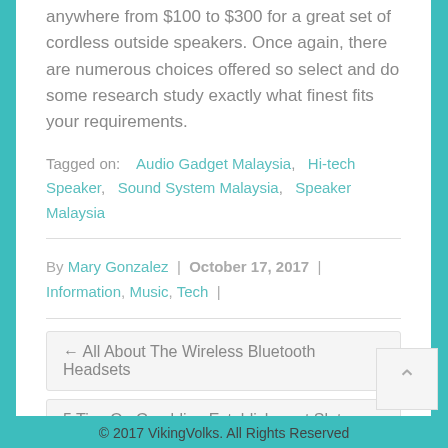anywhere from $100 to $300 for a great set of cordless outside speakers. Once again, there are numerous choices offered so select and do some research study exactly what finest fits your requirements.
Tagged on:    Audio Gadget Malaysia,   Hi-tech Speaker,    Sound System Malaysia,    Speaker Malaysia
By Mary Gonzalez  |  October 17, 2017  |  Information, Music, Tech  |
← All About The Wireless Bluetooth Headsets
5 Tips On Gambling Establishment Slots Video Games You Can Utilize Today →
© 2017 VikingVolks. All Rights Reserved